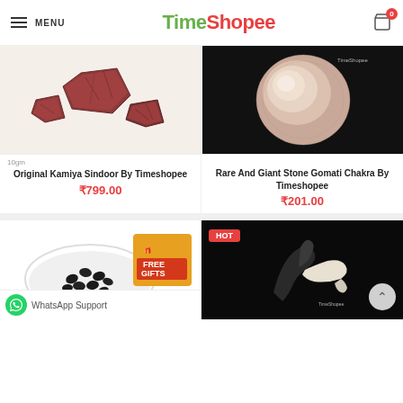MENU | TimeShopee | Cart (0)
[Figure (photo): Three reddish-brown mineral rock chunks (Kamiya Sindoor) on white background]
10gm
Original Kamiya Sindoor By Timeshopee
₹799.00
[Figure (photo): Large round stone Gomati Chakra on black background with TimeShopee watermark]
Rare And Giant Stone Gomati Chakra By Timeshopee
₹201.00
[Figure (photo): Black seeds in a white container with FREE GIFTS banner overlay]
[Figure (photo): HOT badge item - dark animal claw/horn on black background with TimeShopee logo]
WhatsApp Support